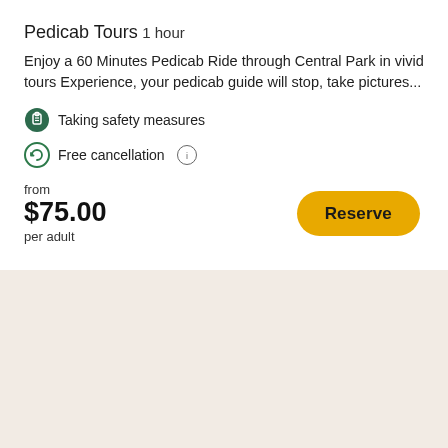Pedicab Tours
1 hour
Enjoy a 60 Minutes Pedicab Ride through Central Park in vivid tours Experience, your pedicab guide will stop, take pictures...
Taking safety measures
Free cancellation
from $75.00 per adult
Reserve